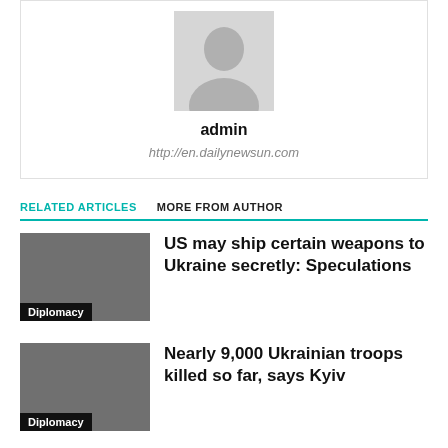[Figure (photo): Author avatar placeholder image - gray silhouette of a person]
admin
http://en.dailynewsun.com
RELATED ARTICLES   MORE FROM AUTHOR
US may ship certain weapons to Ukraine secretly: Speculations
Diplomacy
Nearly 9,000 Ukrainian troops killed so far, says Kyiv
Diplomacy